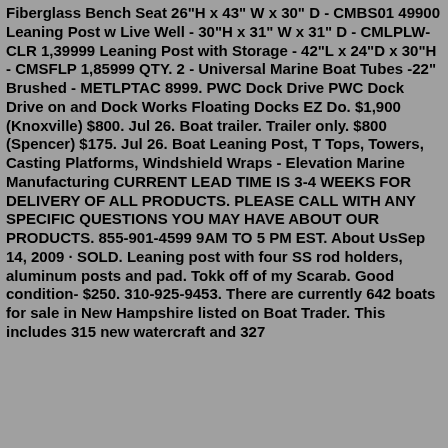Fiberglass Bench Seat 26"H x 43" W x 30" D - CMBS01 49900 Leaning Post w Live Well - 30"H x 31" W x 31" D - CMLPLW-CLR 1,39999 Leaning Post with Storage - 42"L x 24"D x 30"H - CMSFLP 1,85999 QTY. 2 - Universal Marine Boat Tubes -22" Brushed - METLPTAC 8999. PWC Dock Drive PWC Dock Drive on and Dock Works Floating Docks EZ Do. $1,900 (Knoxville) $800. Jul 26. Boat trailer. Trailer only. $800 (Spencer) $175. Jul 26. Boat Leaning Post, T Tops, Towers, Casting Platforms, Windshield Wraps - Elevation Marine Manufacturing CURRENT LEAD TIME IS 3-4 WEEKS FOR DELIVERY OF ALL PRODUCTS. PLEASE CALL WITH ANY SPECIFIC QUESTIONS YOU MAY HAVE ABOUT OUR PRODUCTS. 855-901-4599 9AM TO 5 PM EST. About UsSep 14, 2009 · SOLD. Leaning post with four SS rod holders, aluminum posts and pad. Tokk off of my Scarab. Good condition- $250. 310-925-9453. There are currently 642 boats for sale in New Hampshire listed on Boat Trader. This includes 315 new watercraft and 327